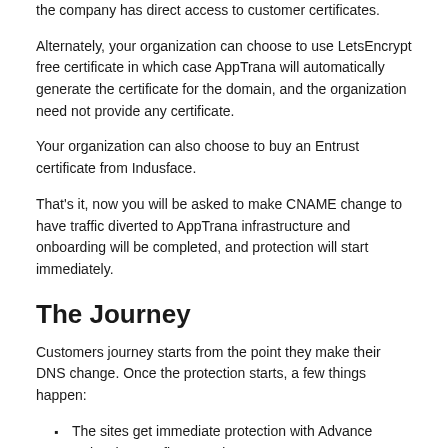the company has direct access to customer certificates.
Alternately, your organization can choose to use LetsEncrypt free certificate in which case AppTrana will automatically generate the certificate for the domain, and the organization need not provide any certificate.
Your organization can also choose to buy an Entrust certificate from Indusface.
That's it, now you will be asked to make CNAME change to have traffic diverted to AppTrana infrastructure and onboarding will be completed, and protection will start immediately.
The Journey
Customers journey starts from the point they make their DNS change. Once the protection starts, a few things happen:
The sites get immediate protection with Advance Rules that are fine-tuned to ensure any FP's. DDOS Protection also gets enabled.